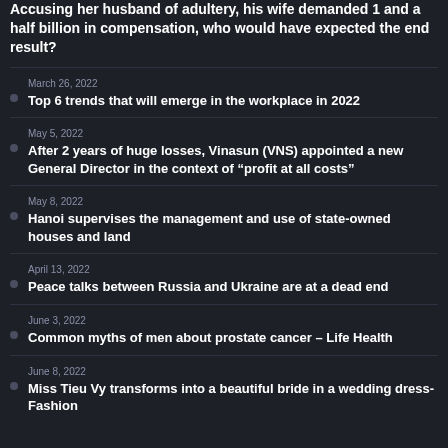Accusing her husband of adultery, his wife demanded 1 and a half billion in compensation, who would have expected the end result?
March 26, 2022
Top 6 trends that will emerge in the workplace in 2022
May 5, 2022
After 2 years of huge losses, Vinasun (VNS) appointed a new General Director in the context of “profit at all costs”
May 8, 2022
Hanoi supervises the management and use of state-owned houses and land
April 13, 2022
Peace talks between Russia and Ukraine are at a dead end
June 3, 2022
Common myths of men about prostate cancer – Life Health
June 8, 2022
Miss Tieu Vy transforms into a beautiful bride in a wedding dress-Fashion